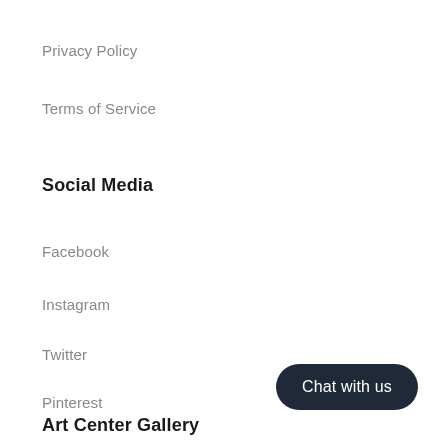Privacy Policy
Terms of Service
Social Media
Facebook
Instagram
Twitter
Pinterest
Art Center Gallery
Chat with us